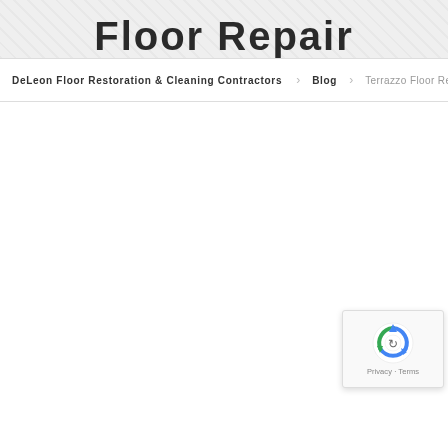Floor Repair
DeLeon Floor Restoration & Cleaning Contractors > Blog > Terrazzo Floor Repair
[Figure (logo): reCAPTCHA widget with rotating arrows logo and Privacy/Terms links]